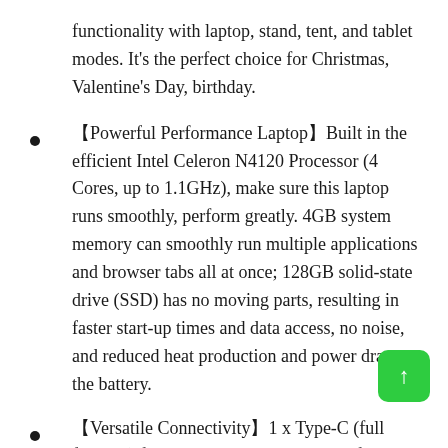functionality with laptop, stand, tent, and tablet modes. It's the perfect choice for Christmas, Valentine's Day, birthday.
【Powerful Performance Laptop】Built in the efficient Intel Celeron N4120 Processor (4 Cores, up to 1.1GHz), make sure this laptop runs smoothly, perform greatly. 4GB system memory can smoothly run multiple applications and browser tabs all at once; 128GB solid-state drive (SSD) has no moving parts, resulting in faster start-up times and data access, no noise, and reduced heat production and power draw on the battery.
【Versatile Connectivity】1 x Type-C (full features) for your ultra-quick data transfer, video streaming, and battery charging. Come